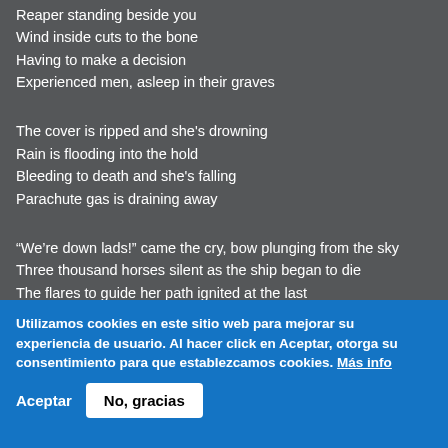Reaper standing beside you
Wind inside cuts to the bone
Having to make a decision
Experienced men, asleep in their graves

The cover is ripped and she's drowning
Rain is flooding into the hold
Bleeding to death and she's falling
Parachute gas is draining away

“We’re down lads!” came the cry, bow plunging from the sky
Three thousand horses silent as the ship began to die
The flares to guide her path ignited at the last
The empire of the clouds, just ashes in our past
Just ashes at the last…
Utilizamos cookies en este sitio web para mejorar su experiencia de usuario. Al hacer click en Aceptar, otorga su consentimiento para que establezcamos cookies. Más info
Aceptar
No, gracias